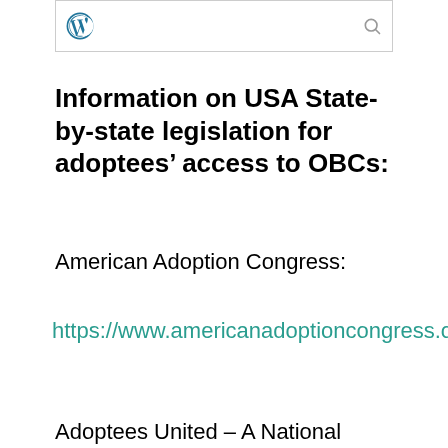[Figure (logo): WordPress logo and website header bar with search icon]
Information on USA State-by-state legislation for adoptees' access to OBCs:
American Adoption Congress:
https://www.americanadoptioncongress.org
Adoptees United – A National